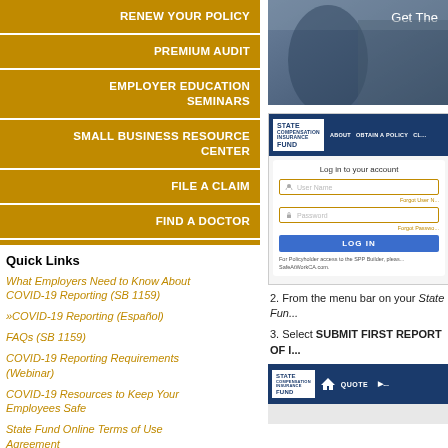RENEW YOUR POLICY
PREMIUM AUDIT
EMPLOYER EDUCATION SEMINARS
SMALL BUSINESS RESOURCE CENTER
FILE A CLAIM
FIND A DOCTOR
Quick Links
What Employers Need to Know About COVID-19 Reporting (SB 1159)
»COVID-19 Reporting (Español)
FAQs (SB 1159)
COVID-19 Reporting Requirements (Webinar)
COVID-19 Resources to Keep Your Employees Safe
State Fund Online Terms of Use Agreement
Excluding Officers, Directors, General Partners, etc. – Information & Waivers (SB 189)
AB 2883 Information
[Figure (screenshot): Screenshot of State Fund website showing login page with User Name and Password fields, LOG IN button, and navigation bar with ABOUT, OBTAIN A POLICY, and other menu items. Also shows partial top image with 'Get The' text.]
2. From the menu bar on your State Fun...
3. Select SUBMIT FIRST REPORT OF I...
[Figure (screenshot): Screenshot showing bottom State Fund website navigation bar with logo, home icon, and QUOTE menu item.]